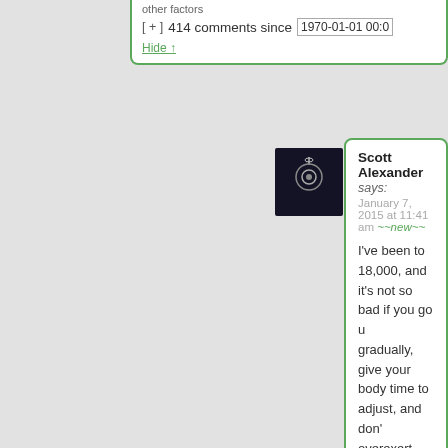other factors
[ + ]  414 comments since  1970-01-01 00:0
Hide ↑
[Figure (photo): Avatar photo of Scott Alexander showing a necklace pendant against dark background]
Scott Alexander says:
January 7, 2015 at 11:41 am ~~new~~
I've been to 18,000, and it's not so bad if you go up gradually, give your body time to adjust, and don't overexert yourself.
Hide ↑
[Figure (illustration): RCF avatar: teal/green geometric quilt-like pattern with snowflake design]
RCF says:
January 7, 2015 at 8:29 pm ~~new~~
And BYOO2?
Hide ↑
[Figure (illustration): Jiro avatar: olive/yellow-green geometric cross pattern]
Jiro says:
January 7, 2015 at 1:54 am ~~new~~